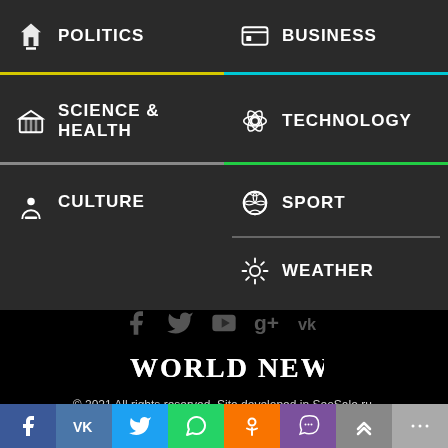POLITICS
BUSINESS
SCIENCE & HEALTH
TECHNOLOGY
CULTURE
SPORT
WEATHER
[Figure (screenshot): Social media icons: Facebook, Twitter, YouTube, Google+, VK]
[Figure (logo): World News logo text in distressed serif font]
© 2021 All rights reserved. Site developed in SeoSale.ru.
[Figure (infographic): Bottom navigation bar with social share buttons: Facebook, VK, Twitter, WhatsApp, OK, Viber, scroll-up, more]